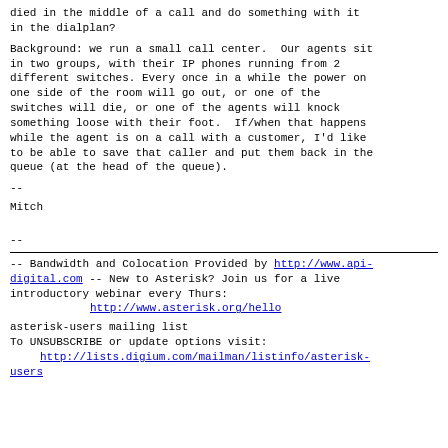died in the middle of a call and do something with it in the dialplan?
Background: we run a small call center.  Our agents sit in two groups, with their IP phones running from 2 different switches. Every once in a while the power on one side of the room will go out, or one of the switches will die, or one of the agents will knock something loose with their foot.  If/when that happens while the agent is on a call with a customer, I'd like to be able to save that caller and put them back in the queue (at the head of the queue).
--
Mitch
--
-- Bandwidth and Colocation Provided by http://www.api-digital.com -- New to Asterisk? Join us for a live introductory webinar every Thurs:
    http://www.asterisk.org/hello
asterisk-users mailing list
To UNSUBSCRIBE or update options visit:
   http://lists.digium.com/mailman/listinfo/asterisk-users